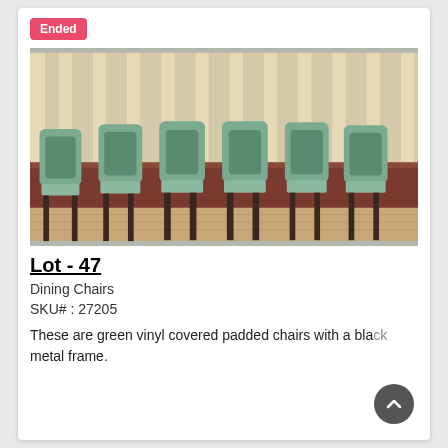Ended
[Figure (photo): Six green vinyl padded dining chairs with black metal frames, arranged in a row against a wall with vertical blinds, on a hardwood floor.]
Lot - 47
Dining Chairs
SKU# : 27205
These are green vinyl covered padded chairs with a black metal frame.